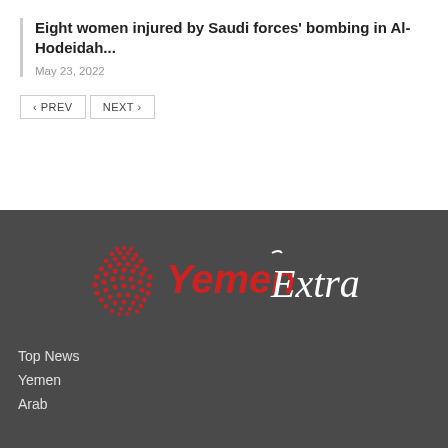Eight women injured by Saudi forces' bombing in Al-Hodeidah...
May 23, 2022
[Figure (logo): YemenExtra logo with red dotted globe and stylized text reading YemenExtra in red and white on dark background]
Top News
Yemen
Arab